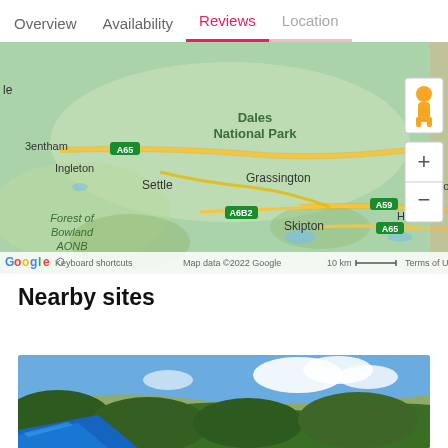Overview  Availability  Reviews  Location
[Figure (map): Google Map showing Yorkshire Dales National Park area including Ingleton, Bentham (A65), Settle, Grassington, Nidderdale AONB, Forest of Bowland AONB, Skipton (A65, A6B2), and A59 road. Map data ©2022 Google, 10 km scale bar, with zoom controls and Street View pegman icon.]
Nearby sites
[Figure (photo): Outdoor photo showing a blue canopy or tent in the foreground with dense green trees/forest and a hillside behind, under a blue sky with white clouds.]